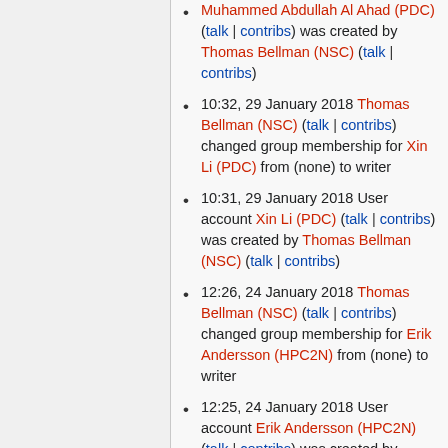Muhammed Abdullah Al Ahad (PDC) (talk | contribs) was created by Thomas Bellman (NSC) (talk | contribs)
10:32, 29 January 2018 Thomas Bellman (NSC) (talk | contribs) changed group membership for Xin Li (PDC) from (none) to writer
10:31, 29 January 2018 User account Xin Li (PDC) (talk | contribs) was created by Thomas Bellman (NSC) (talk | contribs)
12:26, 24 January 2018 Thomas Bellman (NSC) (talk | contribs) changed group membership for Erik Andersson (HPC2N) from (none) to writer
12:25, 24 January 2018 User account Erik Andersson (HPC2N) (talk | contribs) was created by